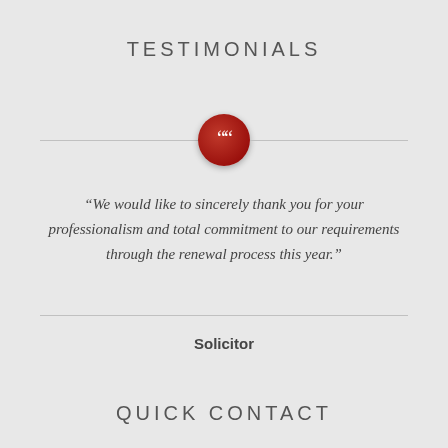TESTIMONIALS
“We would like to sincerely thank you for your professionalism and total commitment to our requirements through the renewal process this year.”
Solicitor
QUICK CONTACT